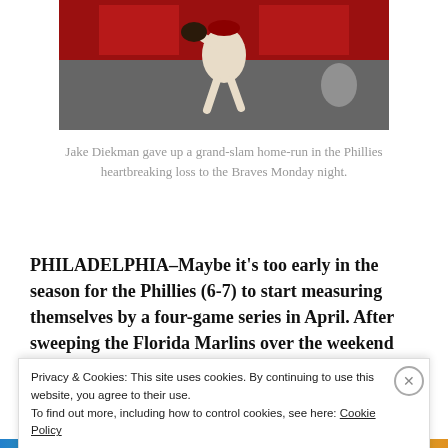[Figure (photo): Baseball pitcher in action, wearing a dark uniform, mid-throw on the mound]
Jake Diekman gave up a grand-slam home-run in the Phillies heartbreaking loss to the Braves Monday night.
PHILADELPHIA–Maybe it’s too early in the season for the Phillies (6-7) to start measuring themselves by a four-game series in April. After sweeping the Florida Marlins over the weekend and bringing their record up
Privacy & Cookies: This site uses cookies. By continuing to use this website, you agree to their use.
To find out more, including how to control cookies, see here: Cookie Policy
Close and accept